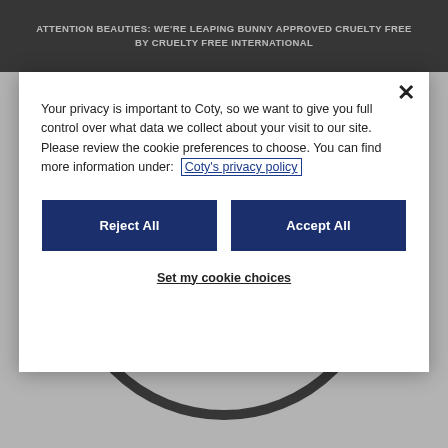ATTENTION BEAUTIES: WE'RE LEAPING BUNNY APPROVED CRUELTY FREE BY CRUELTY FREE INTERNATIONAL
[Figure (screenshot): Cookie consent modal dialog with Reject All and Accept All buttons, overlaying a product page showing a circular '24 HOURS' badge graphic]
Your privacy is important to Coty, so we want to give you full control over what data we collect about your visit to our site. Please review the cookie preferences to choose. You can find more information under: Coty's privacy policy
Reject All
Accept All
Set my cookie choices